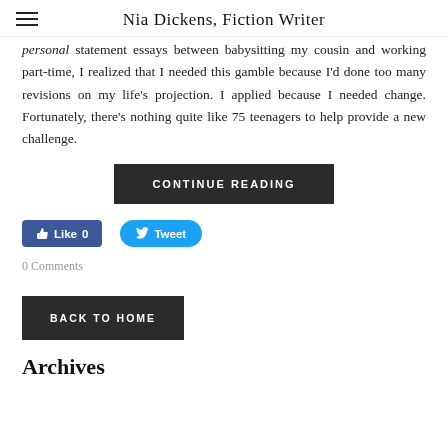Nia Dickens, Fiction Writer
personal statement essays between babysitting my cousin and working part-time, I realized that I needed this gamble because I'd done too many revisions on my life's projection. I applied because I needed change. Fortunately, there's nothing quite like 75 teenagers to help provide a new challenge.
CONTINUE READING
Like 0
Tweet
0 Comments
BACK TO HOME
Archives